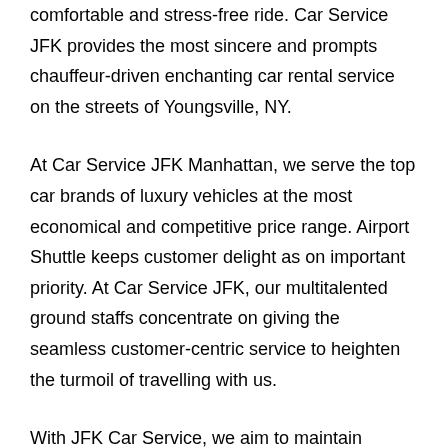comfortable and stress-free ride. Car Service JFK provides the most sincere and prompts chauffeur-driven enchanting car rental service on the streets of Youngsville, NY.
At Car Service JFK Manhattan, we serve the top car brands of luxury vehicles at the most economical and competitive price range. Airport Shuttle keeps customer delight as on important priority. At Car Service JFK, our multitalented ground staffs concentrate on giving the seamless customer-centric service to heighten the turmoil of travelling with us.
With JFK Car Service, we aim to maintain punctuality and timely car service as a primary